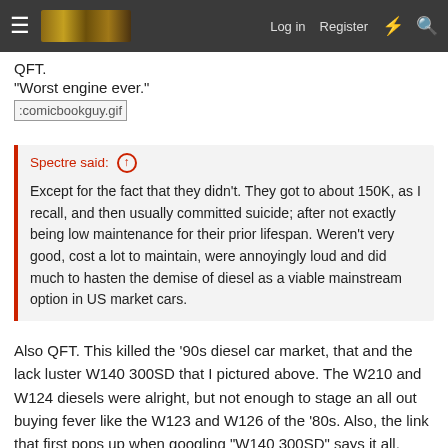Log in  Register
QFT.
"Worst engine ever."
[Figure (other): Broken image placeholder: comicbookguy.gif]
Spectre said: ↑
Except for the fact that they didn't. They got to about 150K, as I recall, and then usually committed suicide; after not exactly being low maintenance for their prior lifespan. Weren't very good, cost a lot to maintain, were annoyingly loud and did much to hasten the demise of diesel as a viable mainstream option in US market cars.
Also QFT. This killed the '90s diesel car market, that and the lack luster W140 300SD that I pictured above. The W210 and W124 diesels were alright, but not enough to stage an all out buying fever like the W123 and W126 of the '80s. Also, the link that first pops up when googling "W140 300SD" says it all.
Spectre